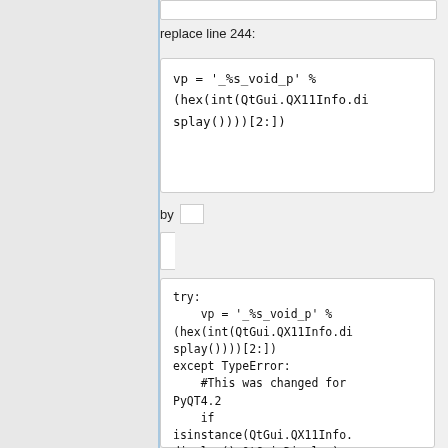replace line 244:
vp = '_%s_void_p' %
(hex(int(QtGui.QX11Info.di
splay())))[2:])
by
try:
    vp = '_%s_void_p' %
(hex(int(QtGui.QX11Info.di
splay())))[2:])
except TypeError:
    #This was changed for
 PyQT4.2
    if
 isinstance(QtGui.QX11Info.
display(),QtGui.Display):
        display =